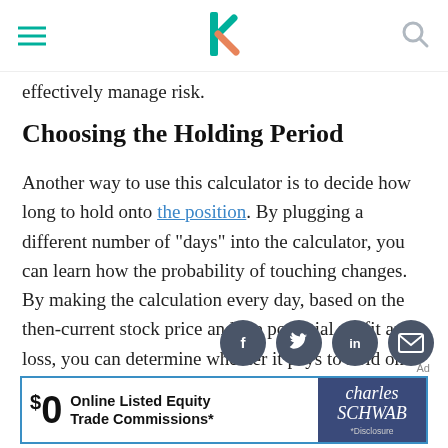Investopedia navigation header with hamburger menu, logo, and search icon
effectively manage risk.
Choosing the Holding Period
Another way to use this calculator is to decide how long to hold onto the position. By plugging a different number of "days" into the calculator, you can learn how the probability of touching changes. By making the calculation every day, based on the then-current stock price and the potential profit and loss, you can determine whether it pays to hold onto the position.
[Figure (other): Social sharing icons: Facebook, Twitter, LinkedIn, Email]
[Figure (other): Charles Schwab advertisement banner: $0 Online Listed Equity Trade Commissions*]